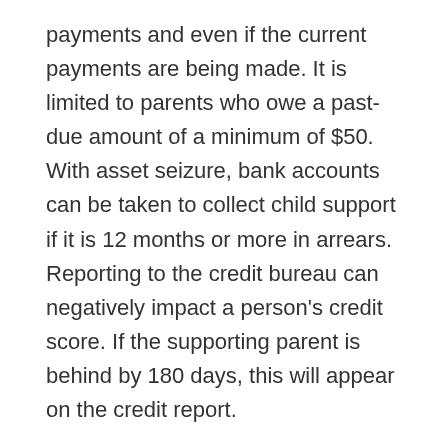payments and even if the current payments are being made. It is limited to parents who owe a past-due amount of a minimum of $50. With asset seizure, bank accounts can be taken to collect child support if it is 12 months or more in arrears. Reporting to the credit bureau can negatively impact a person's credit score. If the supporting parent is behind by 180 days, this will appear on the credit report.
Property liens can impact a home, a car and other items. With a lien, the person will not be able to sell it. Those who have won a lottery might think they are lucky, but if they have unpaid child support the DCSS can intercept it if it goes beyond $600 in